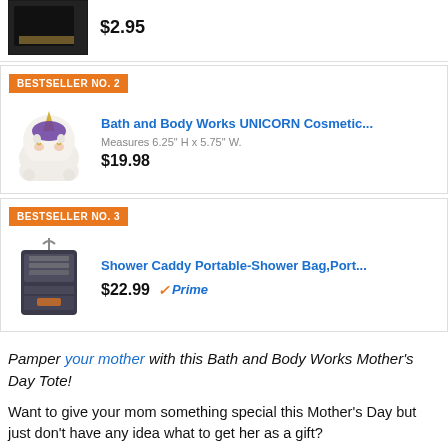[Figure (photo): Dark colored product photo with price $2.95]
$2.95
BESTSELLER NO. 2
[Figure (photo): Bath and Body Works Unicorn Cosmetic bag - white unicorn with purple and gold accents]
Bath and Body Works UNICORN Cosmetic... Measures 6.25" H x 5.75" W. $19.98
BESTSELLER NO. 3
[Figure (photo): Shower Caddy portable shower bag in dark color with hanging hook]
Shower Caddy Portable-Shower Bag,Port... $22.99 Prime
Pamper your mother with this Bath and Body Works Mother's Day Tote!
Want to give your mom something special this Mother's Day but just don't have any idea what to get her as a gift?